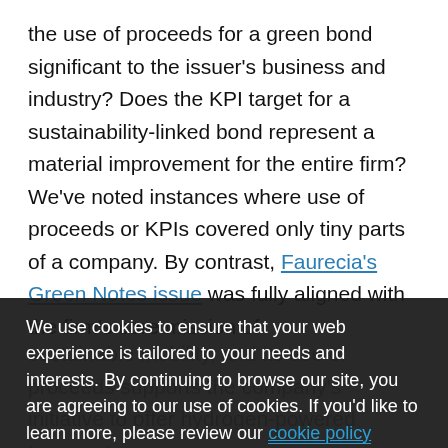the use of proceeds for a green bond significant to the issuer's business and industry? Does the KPI target for a sustainability-linked bond represent a material improvement for the entire firm? We've noted instances where use of proceeds or KPIs covered only tiny parts of a company. By contrast, Faurecia's Green Notes issue was fully aligned with the firm's core mission of sustainable mobility, and its use of proceeds supports the company's initiative to offer hydrogen-powered transport.
We use cookies to ensure that your web experience is tailored to your needs and interests. By continuing to browse our site, you are agreeing to our use of cookies. If you'd like to learn more, please review our cookie policy
Green bond issuers should also provide a green bond framework or other methodology that reflects firmwide commitments, such as adopti